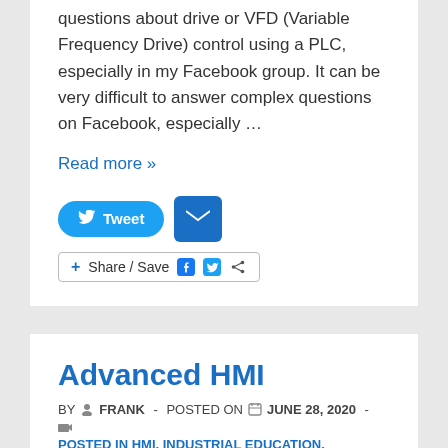Over the past few days I have received a lot of questions about drive or VFD (Variable Frequency Drive) control using a PLC, especially in my Facebook group. It can be very difficult to answer complex questions on Facebook, especially …
Read more »
[Figure (screenshot): Tweet button and email/share buttons]
Advanced HMI
BY FRANK - POSTED ON JUNE 28, 2020 -
POSTED IN HMI, INDUSTRIAL EDUCATION, VENDORS AND